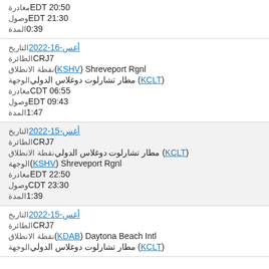مغادرة EDT 20:50
وصول EDT 21:30
المدة 0:39
التاريخ 2022-أغس-16
الطائرة CRJ7
نقطة الانطلاق Shreveport Rgnl (KSHV)
الوجهة مطار تشارلوت دوغلاس الدولي (KCLT)
مغادرة CDT 06:55
وصول EDT 09:43
المدة 1:47
التاريخ 2022-أغس-15
الطائرة CRJ7
نقطة الانطلاق مطار تشارلوت دوغلاس الدولي (KCLT)
الوجهة Shreveport Rgnl (KSHV)
مغادرة EDT 22:50
وصول CDT 23:30
المدة 1:39
التاريخ 2022-أغس-15
الطائرة CRJ7
نقطة الانطلاق Daytona Beach Intl (KDAB)
الوجهة مطار تشارلوت دوغلاس الدولي (KCLT)